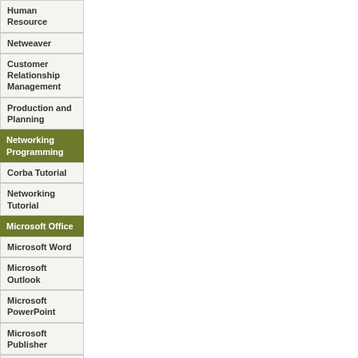Human Resource
Netweaver
Customer Relationship Management
Production and Planning
Networking Programming
Corba Tutorial
Networking Tutorial
Microsoft Office
Microsoft Word
Microsoft Outlook
Microsoft PowerPoint
Microsoft Publisher
Microsoft Excel
Microsoft Front Page
Microsoft InfoPath